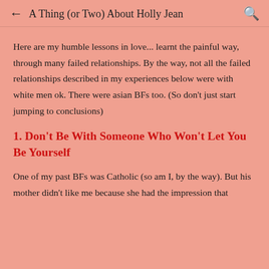← A Thing (or Two) About Holly Jean 🔍
Here are my humble lessons in love... learnt the painful way, through many failed relationships. By the way, not all the failed relationships described in my experiences below were with white men ok. There were asian BFs too. (So don't just start jumping to conclusions)
1. Don't Be With Someone Who Won't Let You Be Yourself
One of my past BFs was Catholic (so am I, by the way). But his mother didn't like me because she had the impression that